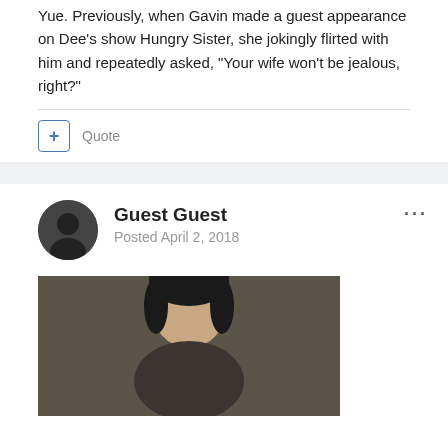Yue. Previously, when Gavin made a guest appearance on Dee's show Hungry Sister, she jokingly flirted with him and repeatedly asked, "Your wife won't be jealous, right?"
Quote
Guest Guest
Posted April 2, 2018
[Figure (photo): Photo of a young Asian man with dark hair, partial view showing head and upper body against a dark background]